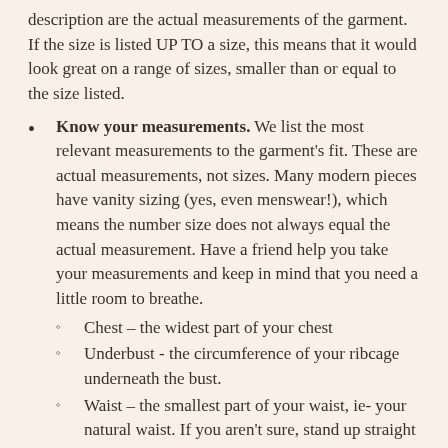description are the actual measurements of the garment. If the size is listed UP TO a size, this means that it would look great on a range of sizes, smaller than or equal to the size listed.
Know your measurements. We list the most relevant measurements to the garment's fit. These are actual measurements, not sizes. Many modern pieces have vanity sizing (yes, even menswear!), which means the number size does not always equal the actual measurement. Have a friend help you take your measurements and keep in mind that you need a little room to breathe.
Chest – the widest part of your chest
Underbust - the circumference of your ribcage underneath the bust.
Waist – the smallest part of your waist, ie- your natural waist. If you aren't sure, stand up straight and bend your body to the side. The place where your body folds is your natural waist